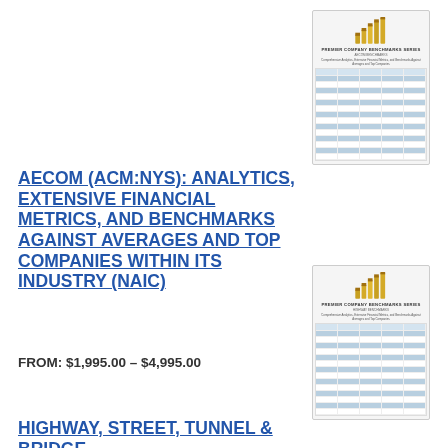[Figure (illustration): Thumbnail of a financial benchmarking report cover showing gold bar chart icon and a data table]
AECOM (ACM:NYS): ANALYTICS, EXTENSIVE FINANCIAL METRICS, AND BENCHMARKS AGAINST AVERAGES AND TOP COMPANIES WITHIN ITS INDUSTRY (NAIC)
FROM: $1,995.00 – $4,995.00
[Figure (illustration): Thumbnail of a financial benchmarking report cover showing gold bar chart icon and a data table]
HIGHWAY, STREET, TUNNEL & BRIDGE